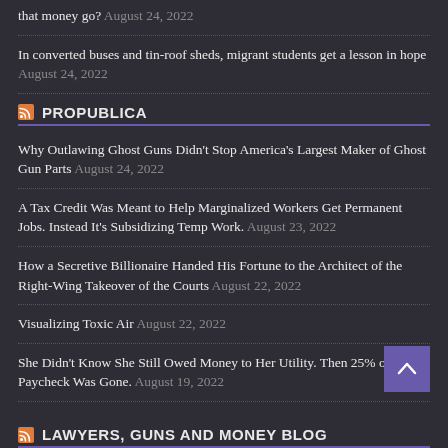that money go? August 24, 2022
In converted buses and tin-roof sheds, migrant students get a lesson in hope August 24, 2022
PROPUBLICA
Why Outlawing Ghost Guns Didn't Stop America's Largest Maker of Ghost Gun Parts August 24, 2022
A Tax Credit Was Meant to Help Marginalized Workers Get Permanent Jobs. Instead It's Subsidizing Temp Work. August 23, 2022
How a Secretive Billionaire Handed His Fortune to the Architect of the Right-Wing Takeover of the Courts August 22, 2022
Visualizing Toxic Air August 22, 2022
She Didn't Know She Still Owed Money to Her Utility. Then 25% of Her Paycheck Was Gone. August 19, 2022
LAWYERS, GUNS AND MONEY BLOG